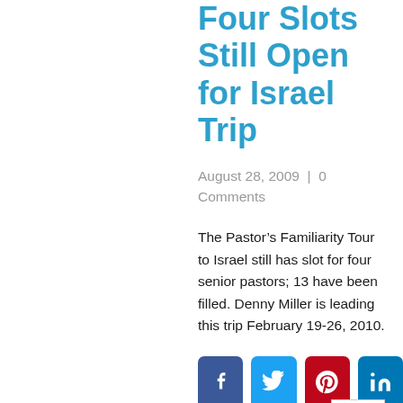Four Slots Still Open for Israel Trip
August 28, 2009  |  0 Comments
The Pastor's Familiarity Tour to Israel still has slot for four senior pastors; 13 have been filled. Denny Miller is leading this trip February 19-26, 2010.
[Figure (infographic): Social media share buttons: Facebook (blue), Twitter (light blue), Pinterest (red), LinkedIn (teal)]
Dealing with Y...